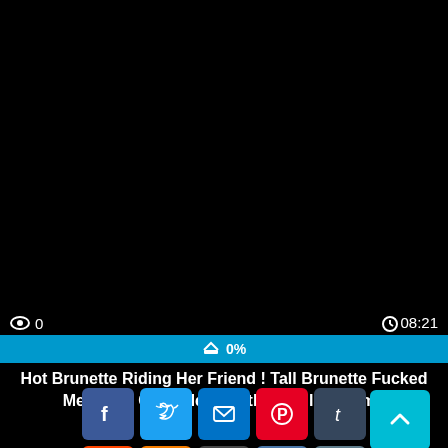[Figure (screenshot): Black video player area]
👁 0   ⏱08:21
[Figure (infographic): Progress bar showing 0% with thumbs up icon]
Hot Brunette Riding Her Friend ! Tall Brunette Fucked Me Until I Cum! Her Mouth Is Full Of Cum !
[Figure (infographic): Social sharing buttons: Facebook, Twitter, Email, Pinterest, Tumblr, Reddit, Blogger, WordPress, VK, Share More, and a back-to-top button]